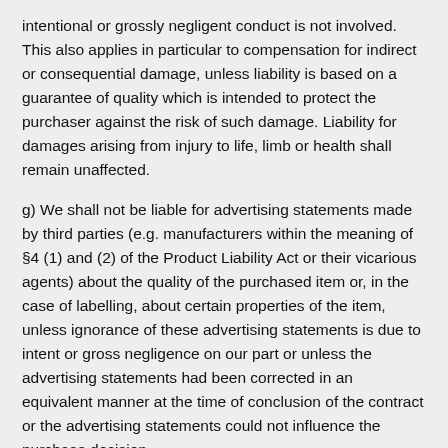intentional or grossly negligent conduct is not involved. This also applies in particular to compensation for indirect or consequential damage, unless liability is based on a guarantee of quality which is intended to protect the purchaser against the risk of such damage. Liability for damages arising from injury to life, limb or health shall remain unaffected.
g) We shall not be liable for advertising statements made by third parties (e.g. manufacturers within the meaning of §4 (1) and (2) of the Product Liability Act or their vicarious agents) about the quality of the purchased item or, in the case of labelling, about certain properties of the item, unless ignorance of these advertising statements is due to intent or gross negligence on our part or unless the advertising statements had been corrected in an equivalent manner at the time of conclusion of the contract or the advertising statements could not influence the purchase decision.